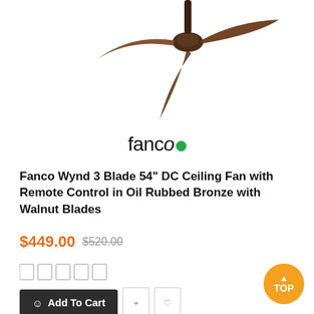[Figure (photo): Ceiling fan with 3 dark walnut blades and oil rubbed bronze motor, viewed from above, shown at top of page]
[Figure (logo): Fanco brand logo in dark text with green dot replacing last 'o']
Fanco Wynd 3 Blade 54" DC Ceiling Fan with Remote Control in Oil Rubbed Bronze with Walnut Blades
$449.00 $520.00
[Figure (other): 5 empty star/rating placeholder boxes]
Add To Cart
[Figure (other): SALE! ribbon banner in red/crimson diagonal stripe]